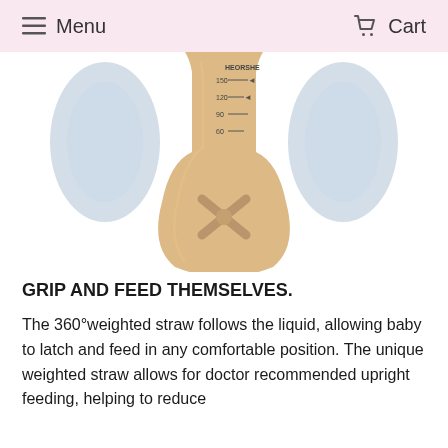Menu  Cart
[Figure (photo): A translucent amber/gold baby bottle with measurement markings (60, 90, 120, 150 ml) and a 360° weighted straw inside, with blue handles visible on the sides. Brand text 'HECTOR' visible at top.]
GRIP AND FEED THEMSELVES.
The 360°weighted straw follows the liquid, allowing baby to latch and feed in any comfortable position. The unique weighted straw allows for doctor recommended upright feeding, helping to reduce